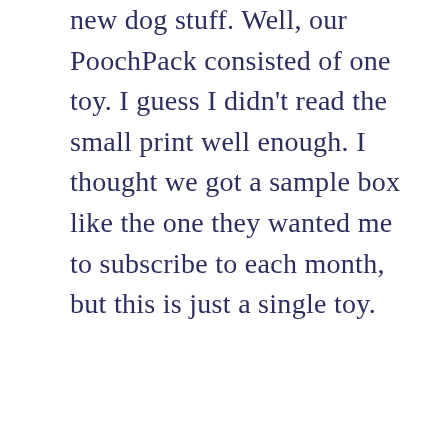new dog stuff. Well, our PoochPack consisted of one toy. I guess I didn't read the small print well enough. I thought we got a sample box like the one they wanted me to subscribe to each month, but this is just a single toy.